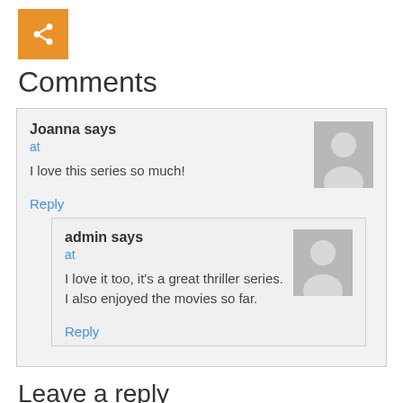[Figure (illustration): Orange share icon button with white share symbol]
Comments
Joanna says
at
I love this series so much!
Reply
admin says
at
I love it too, it's a great thriller series. I also enjoyed the movies so far.
Reply
Leave a reply